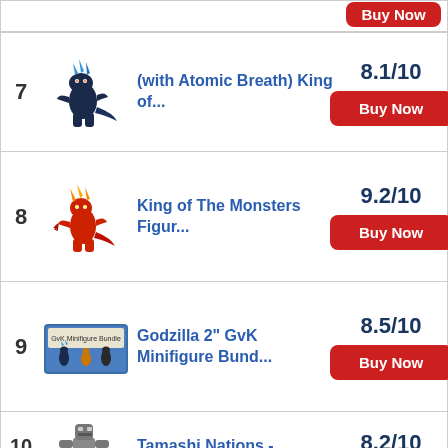7 - (with Atomic Breath) King of... - 8.1/10 - Buy Now
8 - King of The Monsters Figur... - 9.2/10 - Buy Now
9 - Godzilla 2" GvK Minifigure Bund... - 8.5/10 - Buy Now
10 - Tamashi Nations - 8.2/10